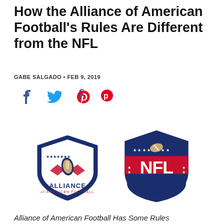How the Alliance of American Football's Rules Are Different from the NFL
GABE SALGADO • FEB 9, 2019
[Figure (illustration): Social sharing icons: Facebook (f), Twitter bird, Pinterest (p) in blue]
[Figure (logo): Alliance of American Football logo (shield with football and stars, text: ALLIANCE OF AMERICAN FOOTBALL) and NFL shield logo (blue shield with stars and red NFL letters)]
Alliance of American Football Has Some Rules